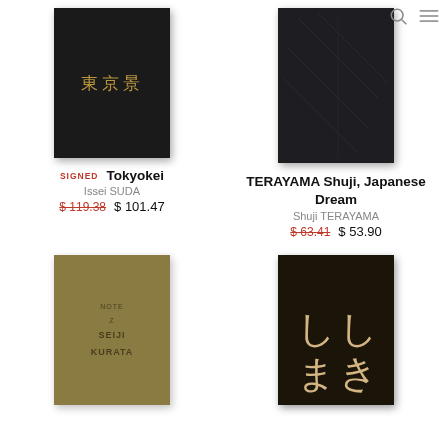[Figure (photo): Black book cover with gold Japanese characters 東京景 (Tokyokei)]
[Figure (photo): Dark navy/black book cover with faint embossed geometric pattern]
SIGNED  Tokyokei
TERAYAMA Shuji, Japanese Dream
Issei SUDA
Shuji TERAYAMA
$ 119.38  $ 101.47
$ 63.41  $ 53.90
[Figure (photo): Olive/khaki green book cover with text SEIJI KURATA in dark tone]
[Figure (photo): Dark brown/black book cover with large cream Japanese calligraphy characters]